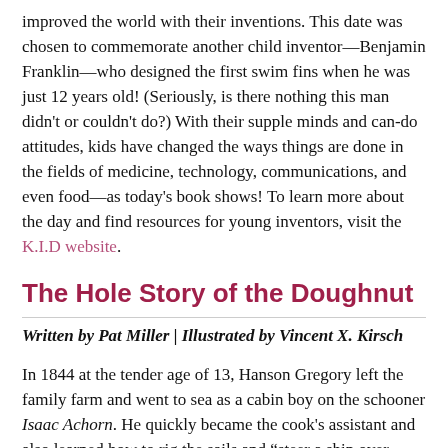improved the world with their inventions. This date was chosen to commemorate another child inventor—Benjamin Franklin—who designed the first swim fins when he was just 12 years old! (Seriously, is there nothing this man didn't or couldn't do?) With their supple minds and can-do attitudes, kids have changed the ways things are done in the fields of medicine, technology, communications, and even food—as today's book shows! To learn more about the day and find resources for young inventors, visit the K.I.D website.
The Hole Story of the Doughnut
Written by Pat Miller | Illustrated by Vincent X. Kirsch
In 1844 at the tender age of 13, Hanson Gregory left the family farm and went to sea as a cabin boy on the schooner Isaac Achorn. He quickly became the cook's assistant and also learned how to rig the sails and "steer a ship over trackless waves by sun and stars." By the age of 19 Gregory had